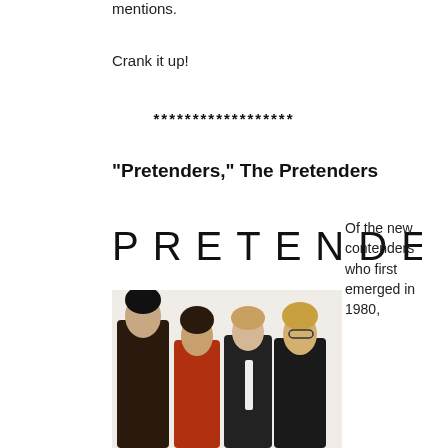mentions.
Crank it up!
******************
“Pretenders,” The Pretenders
[Figure (logo): PRETENDERS band logo in spaced capital letters]
[Figure (photo): Black and white photo of The Pretenders band members — four people standing together]
Of the new contenders who first emerged in 1980,